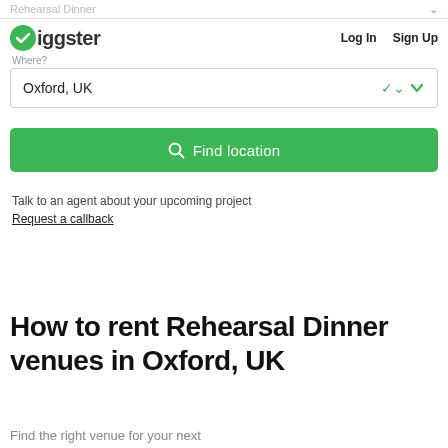Rehearsal Dinner
[Figure (logo): Giggster logo with green checkmark icon and 'Giggster' wordmark in dark text]
Log In   Sign Up
Where?
Oxford, UK
Find location
Talk to an agent about your upcoming project
Request a callback
How to rent Rehearsal Dinner venues in Oxford, UK
Find the right venue for your next